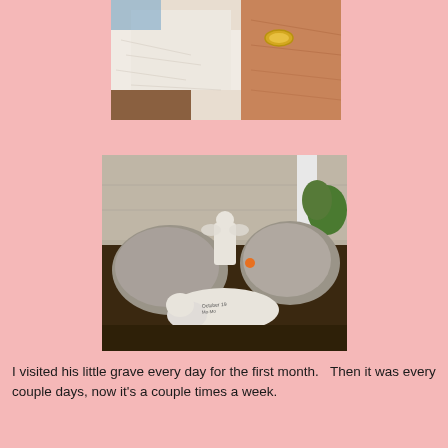[Figure (photo): Close-up photo of a hand with a gold ring gently touching or petting white/light fur of a pet]
[Figure (photo): Photo of a small pet grave with two white stone figurines (a cat figurine lying down with inscription and a small angel/cherub statue) surrounded by large rocks on dark soil near a wall]
I visited his little grave every day for the first month.   Then it was every couple days, now it's a couple times a week.